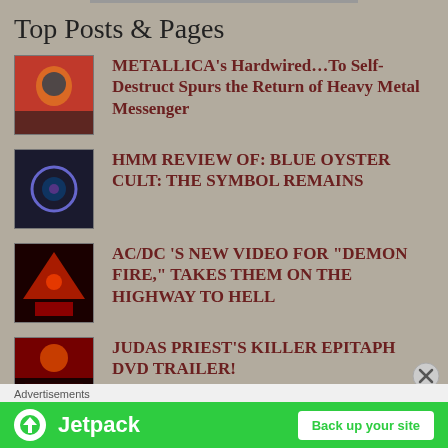Top Posts & Pages
METALLICA's Hardwired...To Self-Destruct Spurs the Return of Heavy Metal Messenger
HMM REVIEW OF: BLUE OYSTER CULT: THE SYMBOL REMAINS
AC/DC 'S NEW VIDEO FOR "DEMON FIRE," TAKES THEM ON THE HIGHWAY TO HELL
JUDAS PRIEST'S KILLER EPITAPH DVD TRAILER!
Advertisements
[Figure (screenshot): Jetpack advertisement banner with green background showing Jetpack logo and Back up your site button]